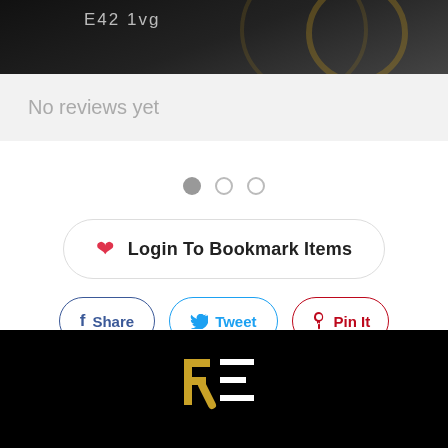[Figure (photo): Dark background image strip with text 'E42 1vg' partially visible]
No reviews yet
[Figure (infographic): Three pagination dots: one filled gray, two empty circles]
Login To Bookmark Items
Share   Tweet   Pin It
[Figure (logo): Black footer with stylized 'RE' logo in gold and white]